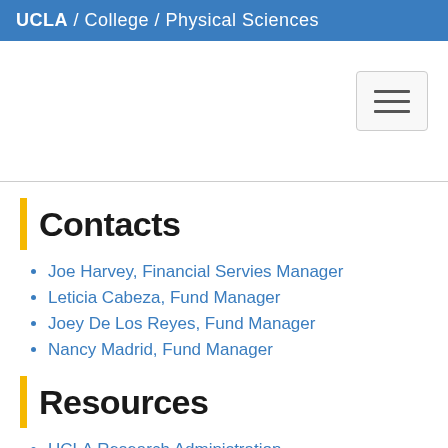UCLA / College / Physical Sciences
Contacts
Joe Harvey, Financial Servies Manager
Leticia Cabeza, Fund Manager
Joey De Los Reyes, Fund Manager
Nancy Madrid, Fund Manager
Resources